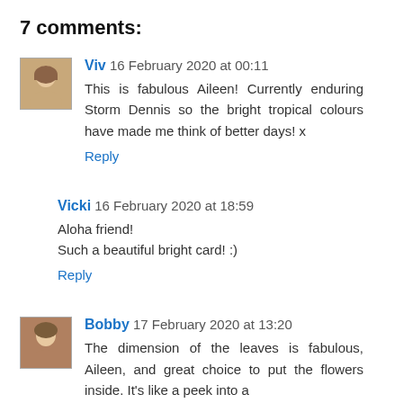7 comments:
Viv 16 February 2020 at 00:11
This is fabulous Aileen! Currently enduring Storm Dennis so the bright tropical colours have made me think of better days! x
Reply
Vicki 16 February 2020 at 18:59
Aloha friend!
Such a beautiful bright card! :)
Reply
Bobby 17 February 2020 at 13:20
The dimension of the leaves is fabulous, Aileen, and great choice to put the flowers inside. It's like a peek into a